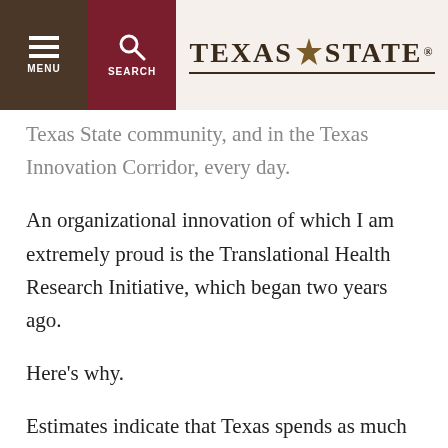MENU | SEARCH | TEXAS STATE
Texas State community, and in the Texas Innovation Corridor, every day.
An organizational innovation of which I am extremely proud is the Translational Health Research Initiative, which began two years ago.
Here's why.
Estimates indicate that Texas spends as much as 166 billion dollars a year on chronic illness, such as diabetes, cancer, high blood pressure, and conditions